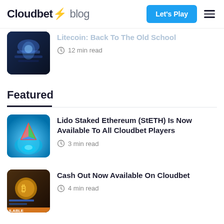Cloudbet blog — Let's Play
Litecoin: Back To The Old School
12 min read
Featured
Lido Staked Ethereum (StETH) Is Now Available To All Cloudbet Players
3 min read
Cash Out Now Available On Cloudbet
4 min read